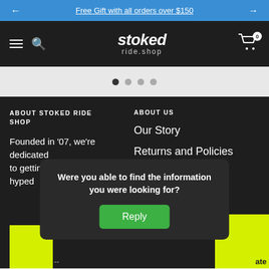Free Gift with all orders over $150
[Figure (logo): Stoked ride.shop logo in white italic text on dark background]
[Figure (other): Carousel navigation dots, 4 dots with first active]
ABOUT STOKED RIDE SHOP
Founded in '07, we're dedicated to getting people hyped
ABOUT US
Our Story
Returns and Policies
Contact
Were you able to find the information you were looking for?
Reply